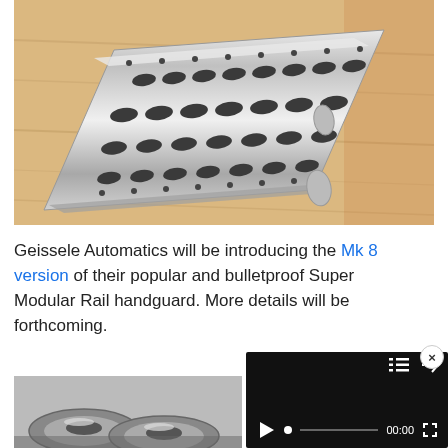[Figure (photo): A silver/aluminum M-LOK style handguard rail lying diagonally on a light wood surface, showing multiple slots and holes along its length.]
Geissele Automatics will be introducing the Mk 8 version of their popular and bulletproof Super Modular Rail handguard. More details will be forthcoming.
[Figure (screenshot): A black video player overlay showing a play button, timeline scrubber at 00:00, fullscreen icon, and top-right icons for list and share. A close (x) button appears at the top right of the overlay.]
[Figure (photo): Partial view of another handguard/firearm part at the bottom left of the page, partially cut off.]